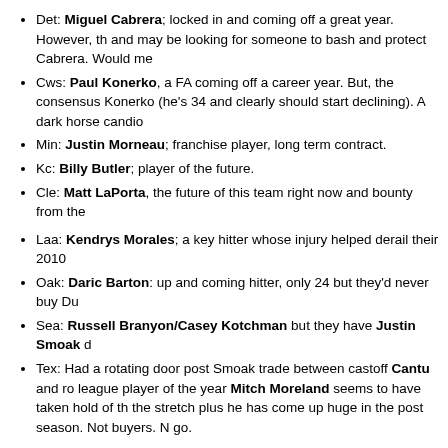Det: Miguel Cabrera; locked in and coming off a great year. However, th and may be looking for someone to bash and protect Cabrera. Would me
Cws: Paul Konerko, a FA coming off a career year. But, the consensus Konerko (he's 34 and clearly should start declining). A dark horse candio
Min: Justin Morneau; franchise player, long term contract.
Kc: Billy Butler; player of the future.
Cle: Matt LaPorta, the future of this team right now and bounty from the
Laa: Kendrys Morales; a key hitter whose injury helped derail their 2010
Oak: Daric Barton: up and coming hitter, only 24 but they'd never buy Du
Sea: Russell Branyon/Casey Kotchman but they have Justin Smoak d
Tex: Had a rotating door post Smoak trade between castoff Cantu and ro league player of the year Mitch Moreland seems to have taken hold of th the stretch plus he has come up huge in the post season. Not buyers. N go.
There's many more AL options. In various scenarios he could make sense for Baltimore, Boston, or Toronto. Tampa if they weren't going cheap.
My personal odds/guesses in order on where Dunn may go:
Chicago Cubs: makes the most sense and are already politicking for him of free agency seem to indicate that the Cubs are standing pat. They hav